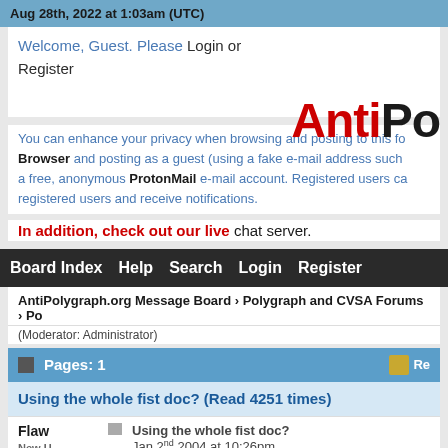Aug 28th, 2022 at 1:03am (UTC)
Welcome, Guest. Please Login or Register
AntiPo
You can enhance your privacy when browsing and posting to this fo Browser and posting as a guest (using a fake e-mail address such a free, anonymous ProtonMail e-mail account. Registered users ca registered users and receive notifications.
In addition, check out our live chat server.
Board Index  Help  Search  Login  Register
AntiPolygraph.org Message Board › Polygraph and CVSA Forums › Po
(Moderator: Administrator)
Pages: 1
Using the whole fist doc? (Read 4251 times)
Flaw
Using the whole fist doc?
Jan 2nd 2004 at 10:26pm